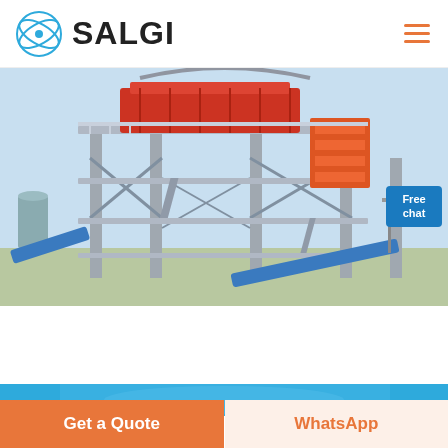[Figure (logo): SALGI company logo with circular icon and bold text]
[Figure (photo): Large industrial equipment - multi-level steel structure with conveyor belts and orange machinery, outdoor industrial plant]
[Figure (other): Blue banner strip partially visible at bottom of page]
Get a Quote
WhatsApp